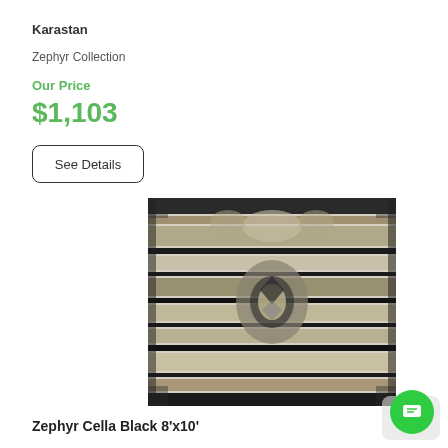Karastan
Zephyr Collection
Our Price
$1,103
See Details
[Figure (photo): A Karastan Zephyr Collection rug with a distressed black and cream pattern featuring traditional medallion design]
Zephyr Cella Black 8'x10'